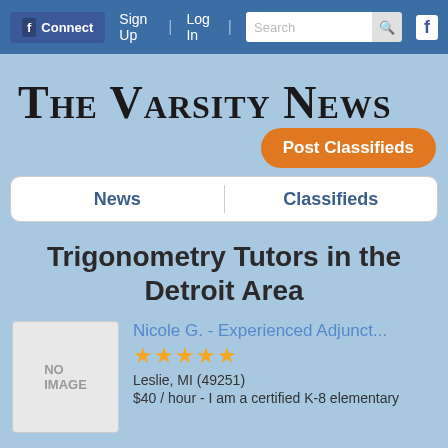f Connect | Sign Up | Log In | Search | f
The Varsity News
Post Classifieds
News    Classifieds
Trigonometry Tutors in the Detroit Area
Nicole G. - Experienced Adjunct...
★★★★★
Leslie, MI (49251)
$40 / hour - I am a certified K-8 elementary